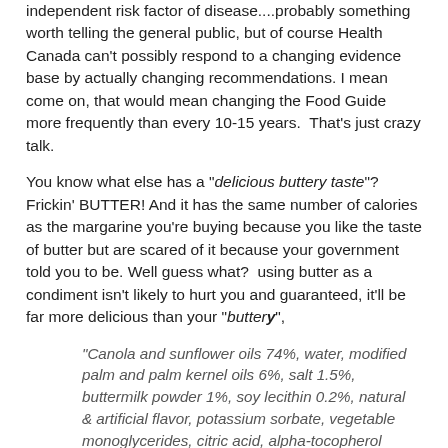independent risk factor of disease....probably something worth telling the general public, but of course Health Canada can't possibly respond to a changing evidence base by actually changing recommendations. I mean come on, that would mean changing the Food Guide more frequently than every 10-15 years.  That's just crazy talk.
You know what else has a "delicious buttery taste"? Frickin' BUTTER! And it has the same number of calories as the margarine you're buying because you like the taste of butter but are scared of it because your government told you to be. Well guess what?  using butter as a condiment isn't likely to hurt you and guaranteed, it'll be far more delicious than your "buttery",
"Canola and sunflower oils 74%, water, modified palm and palm kernel oils 6%, salt 1.5%, buttermilk powder 1%, soy lecithin 0.2%, natural & artificial flavor, potassium sorbate, vegetable monoglycerides, citric acid, alpha-tocopherol acetate, calcium disodium EDTA, vitamin A palmitate, beta-carotene, vitamin D3."